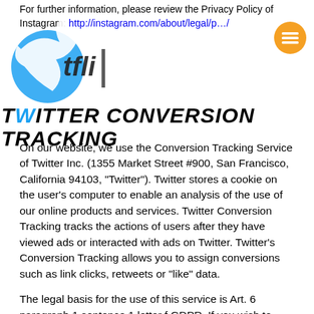For further information, please review the Privacy Policy of Instagram: http://instagram.com/about/legal/p…/
TWITTER CONVERSION TRACKING
On our website, we use the Conversion Tracking Service of Twitter Inc. (1355 Market Street #900, San Francisco, California 94103, "Twitter"). Twitter stores a cookie on the user's computer to enable an analysis of the use of our online products and services. Twitter Conversion Tracking tracks the actions of users after they have viewed ads or interacted with ads on Twitter. Twitter's Conversion Tracking allows you to assign conversions such as link clicks, retweets or "like" data.
The legal basis for the use of this service is Art. 6 paragraph 1 sentence 1 letter f GDPR. If you wish to object to tracking, you can do so using the Digital Advertising Alliance tool at optout.aboutads.info.
Twitter is certified under the Privacy Shield Agreement and thus guarantees its compliance with European data protection legislation: